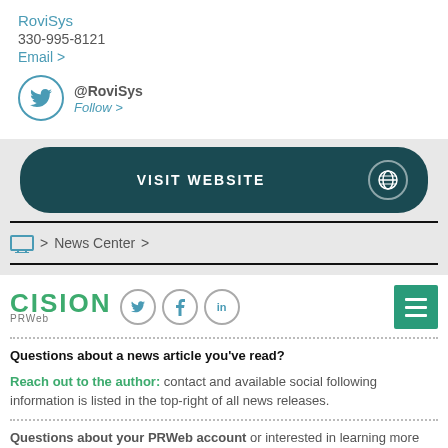RoviSys
330-995-8121
Email >
@RoviSys Follow >
VISIT WEBSITE
> News Center >
[Figure (logo): Cision PRWeb logo with social media icons (Twitter, Facebook, LinkedIn) and hamburger menu button]
Questions about a news article you've read?
Reach out to the author: contact and available social following information is listed in the top-right of all news releases.
Questions about your PRWeb account or interested in learning more about our news services?